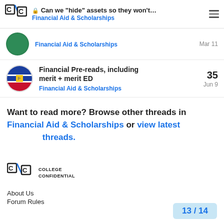Can we "hide" assets so they won't... | Financial Aid & Scholarships
Financial Aid & Scholarships — Mar 11
Financial Pre-reads, including merit + merit ED — Financial Aid & Scholarships — Jun 9 — 35 replies
Want to read more? Browse other threads in Financial Aid & Scholarships or view latest threads.
[Figure (logo): College Confidential logo with C/C letters and COLLEGE CONFIDENTIAL text]
About Us
Forum Rules
13 / 14